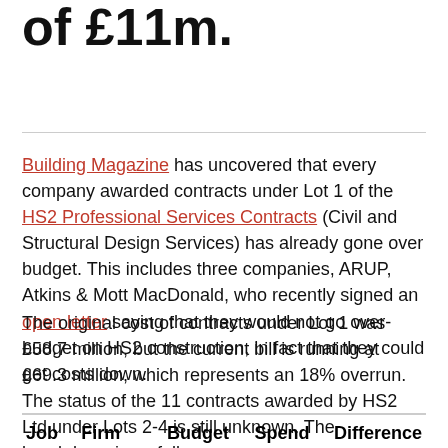of £11m.
Building Magazine has uncovered that every company awarded contracts under Lot 1 of the HS2 Professional Services Contracts (Civil and Structural Design Services) has already gone over budget. This includes three companies, ARUP, Atkins & Mott MacDonald, who recently signed an open letter saying that they would not go over-budget on HS2 construction, in fact that they could get costs down.
The original cost of contracts under Lot 1 was £58.7 million, but the current bill is running at £69.3 million, which represents an 18% overrun. The status of the 11 contracts awarded by HS2 Ltd under Lots 2-4 is still unknown. The breakdown is as follows:
| Job | Firm | Budget | Spend | Difference |
| --- | --- | --- | --- | --- |